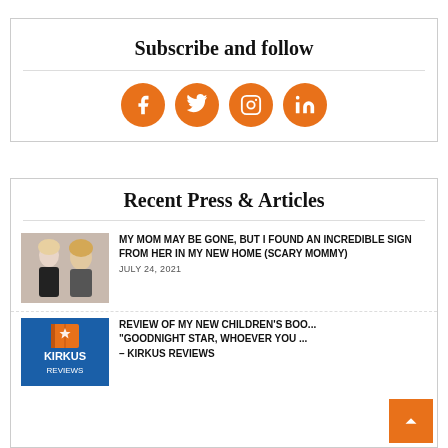Subscribe and follow
[Figure (infographic): Four orange circular social media icons: Facebook, Twitter, Instagram, LinkedIn]
Recent Press & Articles
[Figure (photo): Photo of two women (mother and daughter)]
MY MOM MAY BE GONE, BUT I FOUND AN INCREDIBLE SIGN FROM HER IN MY NEW HOME (SCARY MOMMY)
JULY 24, 2021
[Figure (logo): Kirkus Reviews logo on blue background]
REVIEW OF MY NEW CHILDREN'S BOO... "GOODNIGHT STAR, WHOEVER YOU ... – KIRKUS REVIEWS